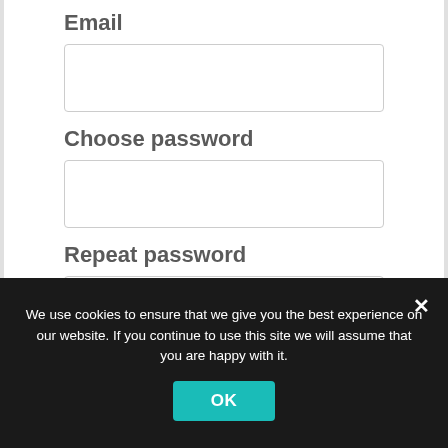Email
[Figure (screenshot): Empty email input field]
Choose password
[Figure (screenshot): Empty password input field]
Repeat password
[Figure (screenshot): Empty repeat password input field]
Prove you are human
[Figure (screenshot): Partially visible prove you are human input field]
We use cookies to ensure that we give you the best experience on our website. If you continue to use this site we will assume that you are happy with it.
OK